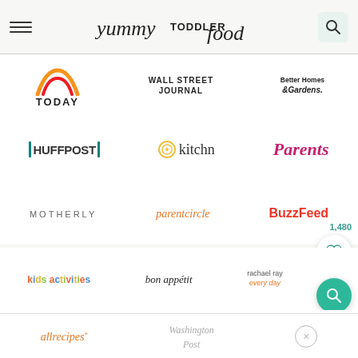yummy TODDLER food
[Figure (logo): TODAY show logo with rainbow arc]
[Figure (logo): Wall Street Journal logo]
[Figure (logo): Better Homes & Gardens logo]
[Figure (logo): HuffPost logo with green bars]
[Figure (logo): kitchn logo with circular icon]
[Figure (logo): Parents magazine logo in pink]
[Figure (logo): MOTHERLY logo in gray uppercase]
[Figure (logo): parentcircle logo in orange italic]
[Figure (logo): BuzzFeed logo in red]
[Figure (logo): kids activities logo in multicolor]
[Figure (logo): bon appétit logo in italic]
[Figure (logo): Rachael Ray Every Day logo]
[Figure (logo): The Washington Post partial logo]
[Figure (logo): allrecipes logo in orange italic]
[Figure (logo): The Washington Post footer logo]